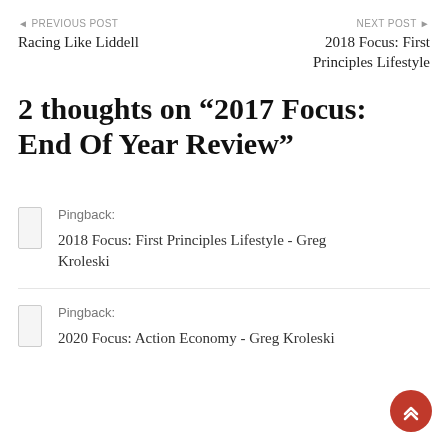◄ PREVIOUS POST
Racing Like Liddell
NEXT POST ►
2018 Focus: First Principles Lifestyle
2 thoughts on “2017 Focus: End Of Year Review”
Pingback:
2018 Focus: First Principles Lifestyle - Greg Kroleski
Pingback:
2020 Focus: Action Economy - Greg Kroleski